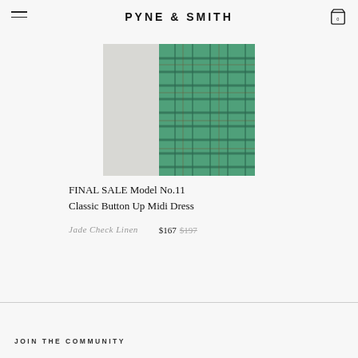PYNE & SMITH
[Figure (photo): A green plaid/check linen midi dress photographed on a model, showing the torso and skirt area in jade/teal check linen fabric.]
FINAL SALE Model No.11 Classic Button Up Midi Dress
Jade Check Linen  $167  $197
JOIN THE COMMUNITY